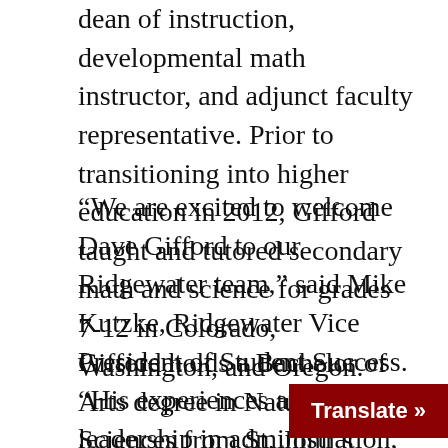dean of instruction, developmental math instructor, and adjunct faculty representative. Prior to transitioning into higher education in 2012, Gifford taught and tutored secondary math and science for grades 7-12 in Colorado, Washington, and Oregon.
“We are excited to welcome Dave Gifford to our Ridgewater team,” said Mike Kutzke, Ridgewater Vice President of Student Success. “His experiences and leadership in administration, math, science, and diverse populations will be great assets for Ridgewater College.”
Gifford holds a Bachelor of Arts degree in Natural Sciences from St. John’s University (MN), a Master of Arts in Teaching from the University of Portland, and is currently finishing a Doctor of Educa[tion in] Interdisciplinary Leadership from Crei[ghton University].